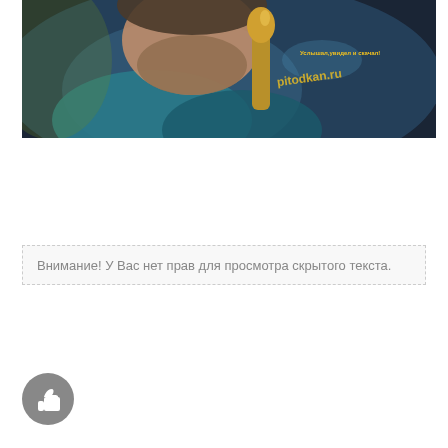[Figure (photo): A bearded man singing into a golden microphone, close-up shot with blue/teal lighting. Watermark text visible in yellow: 'Услышал, увидел и скачал!' and a URL 'pitodkan.ru'.]
Внимание! У Вас нет прав для просмотра скрытого текста.
[Figure (other): A circular grey thumbs-up icon button at the bottom left.]